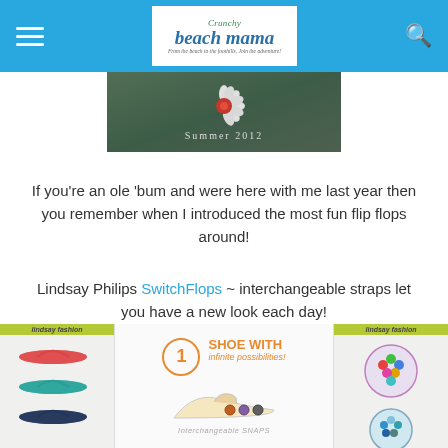Crunchy Beach Mama — navigation bar with logo
[Figure (illustration): Banner image with dark green background showing a flower graphic and 'Summer 2012' text]
If you're an ole 'bum and were here with me last year then you remember when I introduced the most fun flip flops around!
Lindsay Philips SwitchFlops ~ interchangeable straps let you have a new look each day!
Today I am chatting about the Lindsay Phillips Snap Shoes
[Figure (photo): Product image showing Lindsay Phillips Snap Shoes — flip flop styles on left panel, center panel with '1 SHOE WITH infinite possibilities!' graphic and shoe illustration with interchangeable snaps, right panel showing colorful snap accessories]